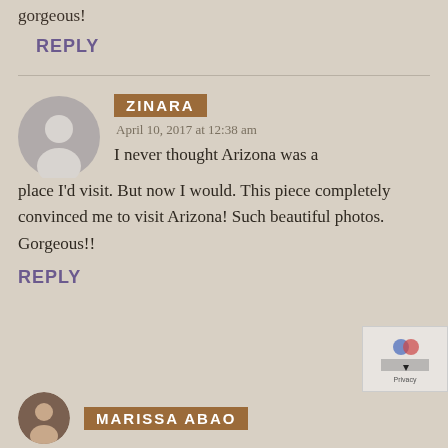gorgeous!
REPLY
ZINARA
April 10, 2017 at 12:38 am
I never thought Arizona was a place I’d visit. But now I would. This piece completely convinced me to visit Arizona! Such beautiful photos. Gorgeous!!
REPLY
MARISSA ABAO